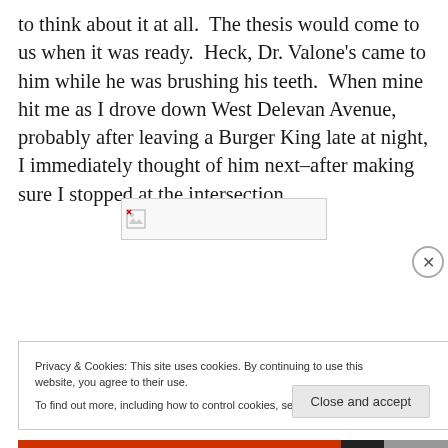to think about it at all.  The thesis would come to us when it was ready.  Heck, Dr. Valone's came to him while he was brushing his teeth.  When mine hit me as I drove down West Delevan Avenue, probably after leaving a Burger King late at night, I immediately thought of him next–after making sure I stopped at the intersection.
[Figure (photo): Broken/unloaded image placeholder with broken image icon]
Privacy & Cookies: This site uses cookies. By continuing to use this website, you agree to their use.
To find out more, including how to control cookies, see here: Cookie Policy